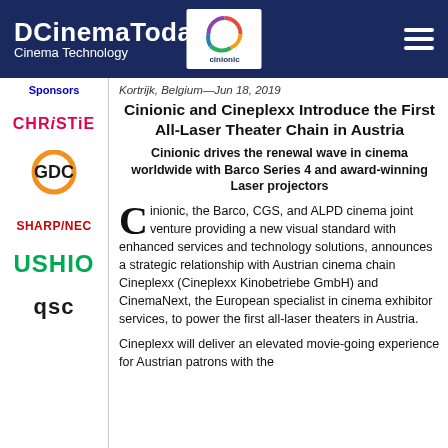DCinemaToday Cinema Technology
Sponsors
Kortrijk, Belgium—Jun 18, 2019
Cinionic and Cineplexx Introduce the First All-Laser Theater Chain in Austria
Cinionic drives the renewal wave in cinema worldwide with Barco Series 4 and award-winning Laser projectors
Cinionic, the Barco, CGS, and ALPD cinema joint venture providing a new visual standard with enhanced services and technology solutions, announces a strategic relationship with Austrian cinema chain Cineplexx (Cineplexx Kinobetriebe GmbH) and CinemaNext, the European specialist in cinema exhibitor services, to power the first all-laser theaters in Austria.
Cineplexx will deliver an elevated movie-going experience for Austrian patrons with the